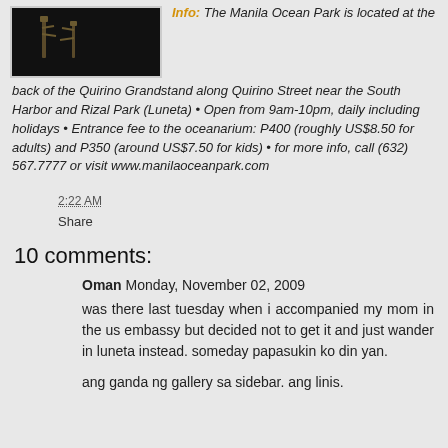[Figure (photo): Dark photo showing what appears to be animals or figures against a dark background, displayed in a small rectangular frame]
Info:  The Manila Ocean Park is located at the back of the Quirino Grandstand along Quirino Street near the South Harbor and Rizal Park (Luneta) • Open from 9am-10pm, daily including holidays • Entrance fee to the oceanarium: P400 (roughly  US$8.50 for adults) and P350 (around US$7.50 for kids) • for more info, call (632) 567.7777 or visit www.manilaoceanpark.com
2:22 AM
Share
10 comments:
Oman  Monday, November 02, 2009
was there last tuesday when i accompanied my mom in the us embassy but decided not to get it and just wander in luneta instead. someday papasukin ko din yan.
ang ganda ng gallery sa sidebar. ang linis.